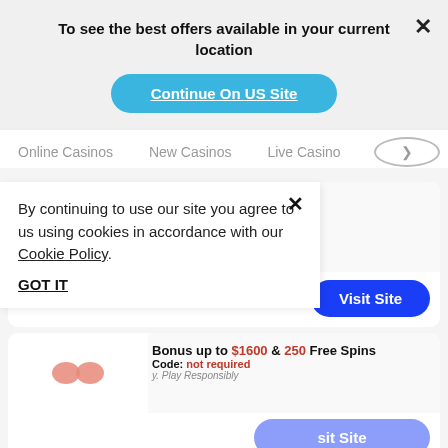To see the best offers available in your current location
Continue On US Site
Online Casinos  New Casinos  Live Casino
[Figure (logo): All Slots Casino logo with red stylized text and blue wings]
C$1500 + 50 Free Spins
Promo Code: not required
19+. T&C Apply. Play Responsibly
All Slots Casino review >>
Visit Site
[Figure (illustration): Pink blob/heart logo for second casino]
Bonus up to $1600 & 250 Free Spins
Promo Code: not required
19+. T&C Apply. Play Responsibly
By continuing to use our site you agree to us using cookies in accordance with our Cookie Policy.
GOT IT
Visit Site